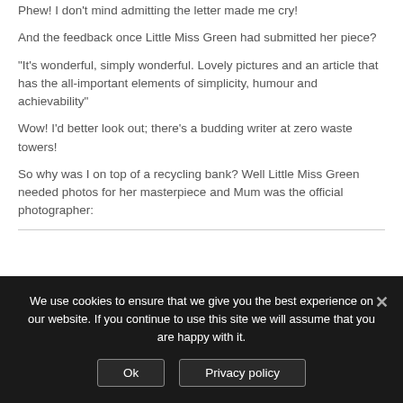Phew! I don't mind admitting the letter made me cry!
And the feedback once Little Miss Green had submitted her piece?
“It's wonderful, simply wonderful. Lovely pictures and an article that has the all-important elements of simplicity, humour and achievability”
Wow! I’d better look out; there's a budding writer at zero waste towers!
So why was I on top of a recycling bank? Well Little Miss Green needed photos for her masterpiece and Mum was the official photographer:
We use cookies to ensure that we give you the best experience on our website. If you continue to use this site we will assume that you are happy with it.